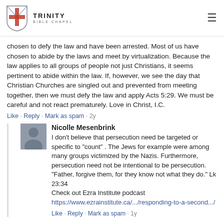TRINITY BIBLE CHAPEL
chosen to defy the law and have been arrested. Most of us have chosen to abide by the laws and meet by virtualization. Because the law applies to all groups of people not just Christians, it seems pertinent to abide within the law. If, however, we see the day that Christian Churches are singled out and prevented from meeting together, then we must defy the law and apply Acts 5:29. We must be careful and not react prematurely. Love in Christ, I.C.
Like · Reply · Mark as spam · 2y
Nicolle Mesenbrink
I don't believe that persecution need be targeted or specific to "count" . The Jews for example were among many groups victimized by the Nazis. Furthermore, persecution need not be intentional to be persecution. "Father, forgive them, for they know not what they do." Lk 23:34
Check out Ezra Institute podcast
https://www.ezrainstitute.ca/.../responding-to-a-second.../
Like · Reply · Mark as spam · 1y